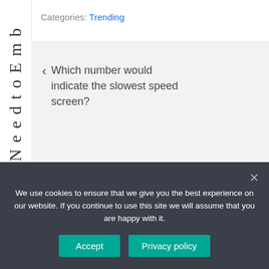e s N e e d t o E m b
Categories: Trending
< Which number would indicate the slowest speed screen?
Is Mazda Atenza a good car? >
We use cookies to ensure that we give you the best experience on our website. If you continue to use this site we will assume that you are happy with it.
Accept
Privacy policy